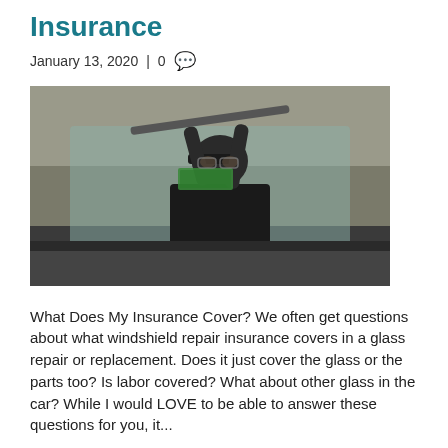Insurance
January 13, 2020 | 0
[Figure (photo): A mechanic or technician working on a car windshield, wearing a dark cap and dark clothing, with a green sign visible in the background.]
What Does My Insurance Cover? We often get questions about what windshield repair insurance covers in a glass repair or replacement. Does it just cover the glass or the parts too? Is labor covered? What about other glass in the car? While I would LOVE to be able to answer these questions for you, it...
Read More